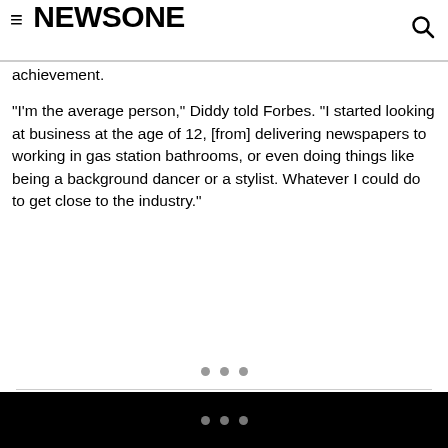NEWSONE
achievement.
“I’m the average person,” Diddy told Forbes. “I started looking at business at the age of 12, [from] delivering newspapers to working in gas station bathrooms, or even doing things like being a background dancer or a stylist. Whatever I could do to get close to the industry.”